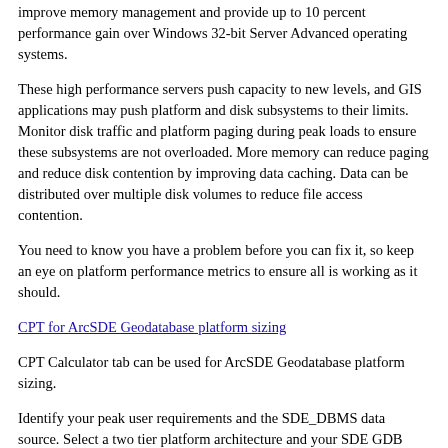improve memory management and provide up to 10 percent performance gain over Windows 32-bit Server Advanced operating systems.
These high performance servers push capacity to new levels, and GIS applications may push platform and disk subsystems to their limits. Monitor disk traffic and platform paging during peak loads to ensure these subsystems are not overloaded. More memory can reduce paging and reduce disk contention by improving data caching. Data can be distributed over multiple disk volumes to reduce file access contention.
You need to know you have a problem before you can fix it, so keep an eye on platform performance metrics to ensure all is working as it should.
CPT for ArcSDE Geodatabase platform sizing
CPT Calculator tab can be used for ArcSDE Geodatabase platform sizing.
Identify your peak user requirements and the SDE_DBMS data source. Select a two tier platform architecture and your SDE GDB hardware platform choice.
The recommended platform solution is generated by Excel once